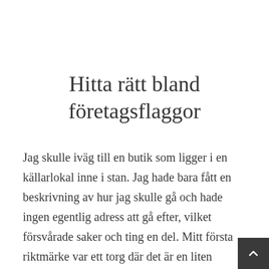Hitta rätt bland företagsflaggor
Jag skulle iväg till en butik som ligger i en källarlokal inne i stan. Jag hade bara fått en beskrivning av hur jag skulle gå och hade ingen egentlig adress att gå efter, vilket försvårade saker och ting en del. Mitt första riktmärke var ett torg där det är en liten djungel av företagsflaggor som vajar fram och tillbaks i vinden. Därifrån skulle jag ta sikte på ett tryckeri vid kajen därifrån skulle det finnas en skylt och inte vara några